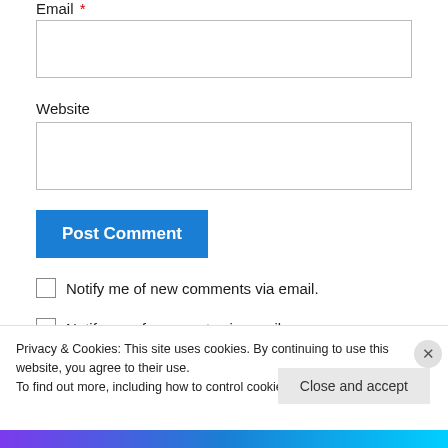Email *
Website
Post Comment
Notify me of new comments via email.
Notify me of new posts via email.
Privacy & Cookies: This site uses cookies. By continuing to use this website, you agree to their use. To find out more, including how to control cookies, see here: Cookie Policy
Close and accept